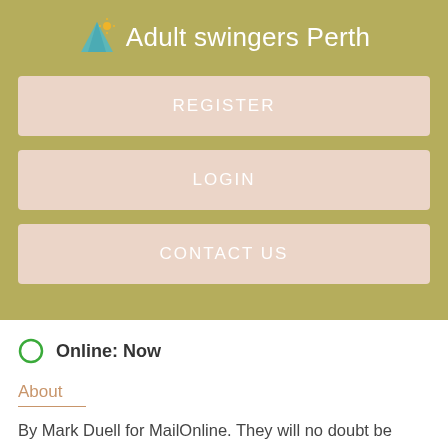Adult swingers Perth
REGISTER
LOGIN
CONTACT US
Online: Now
About
By Mark Duell for MailOnline. They will no doubt be learning plenty about pregnancy over the next six